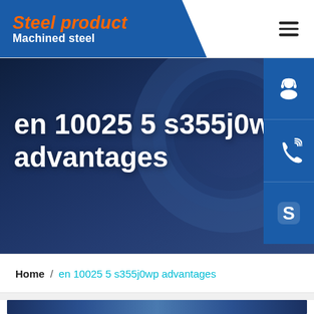Steel product — Machined steel
en 10025 5 s355j0wp advantages
Home / en 10025 5 s355j0wp advantages
[Figure (photo): Bottom strip showing steel industrial facility]